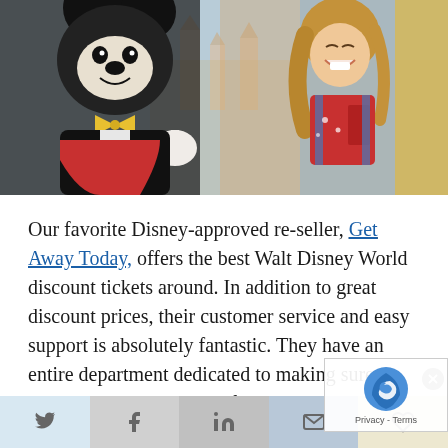[Figure (photo): Photo of Mickey Mouse character costume with a young girl in a red t-shirt at Walt Disney World. Mickey is wearing his signature tuxedo with yellow bow tie. The girl is smiling and looking up. Castle and park scenery visible in background.]
Our favorite Disney-approved re-seller, Get Away Today, offers the best Walt Disney World discount tickets around. In addition to great discount prices, their customer service and easy support is absolutely fantastic. They have an entire department dedicated to making sure every order has a wonderful experience...